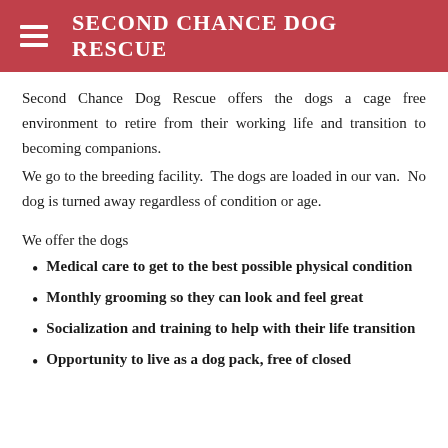SECOND CHANCE DOG RESCUE
Second Chance Dog Rescue offers the dogs a cage free environment to retire from their working life and transition to becoming companions.
We go to the breeding facility.  The dogs are loaded in our van.  No dog is turned away regardless of condition or age.
We offer the dogs
Medical care to get to the best possible physical condition
Monthly grooming so they can look and feel great
Socialization and training to help with their life transition
Opportunity to live as a dog pack, free of closed